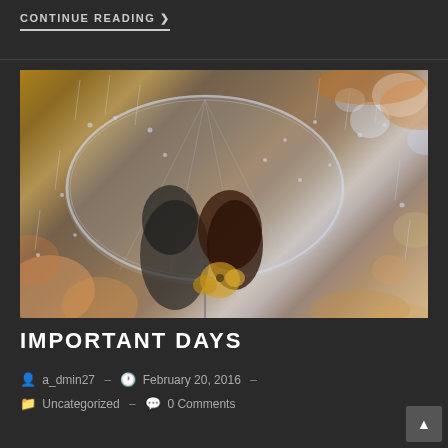CONTINUE READING ❯
[Figure (photo): A couple kissing under a clear transparent umbrella in the rain, surrounded by autumn bokeh flowers and foliage]
IMPORTANT DAYS
a_dmin27 – February 20, 2016 – Uncategorized – 0 Comments